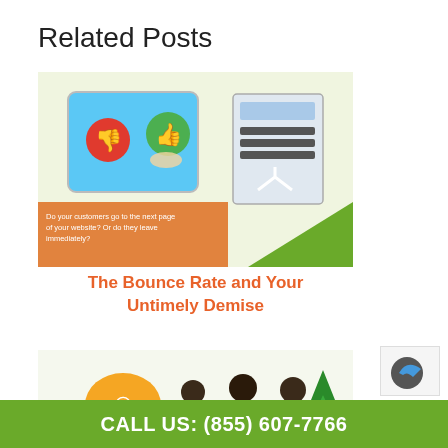Related Posts
[Figure (infographic): Infographic thumbnail showing a tablet with thumbs up/down buttons and a form, with orange overlay text: 'Do your customers go to the next page of your website? Or do they leave immediately?']
The Bounce Rate and Your Untimely Demise
[Figure (infographic): Infographic thumbnail showing shoppers with bags and a Christmas tree, with orange overlay text: 'Learn 10 must-do processes for your holiday campaigns to avoid some of the most common errors during this critical time of year.']
The Ultimate Checklist for
CALL US: (855) 607-7766